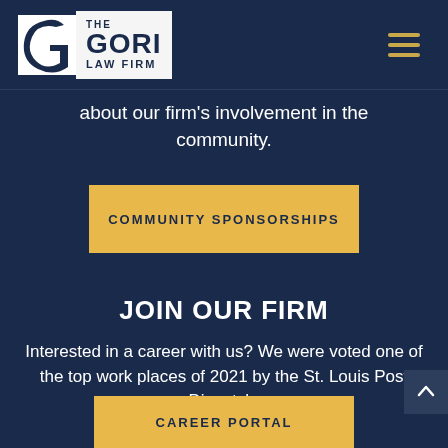The Gori Law Firm
about our firm's involvement in the community.
COMMUNITY SPONSORSHIPS
JOIN OUR FIRM
Interested in a career with us? We were voted one of the top work places of 2021 by the St. Louis Post Dispatch.
CAREER PORTAL